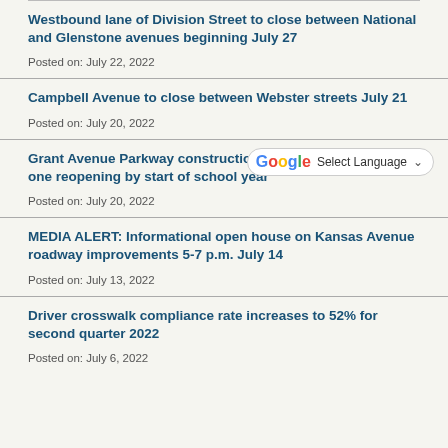Westbound lane of Division Street to close between National and Glenstone avenues beginning July 27
Posted on: July 22, 2022
Campbell Avenue to close between Webster streets July 21
Posted on: July 20, 2022
Grant Avenue Parkway construction on schedule for section one reopening by start of school year
Posted on: July 20, 2022
MEDIA ALERT: Informational open house on Kansas Avenue roadway improvements 5-7 p.m. July 14
Posted on: July 13, 2022
Driver crosswalk compliance rate increases to 52% for second quarter 2022
Posted on: July 6, 2022